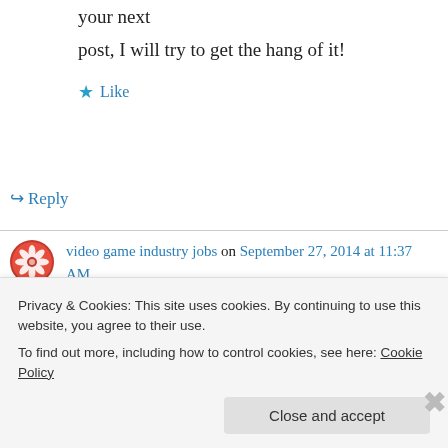your next
post, I will try to get the hang of it!
★ Like
↪ Reply
video game industry jobs on September 27, 2014 at 11:37 AM
I am not sure where you're getting your information, but good topic.
Privacy & Cookies: This site uses cookies. By continuing to use this website, you agree to their use.
To find out more, including how to control cookies, see here: Cookie Policy
Close and accept